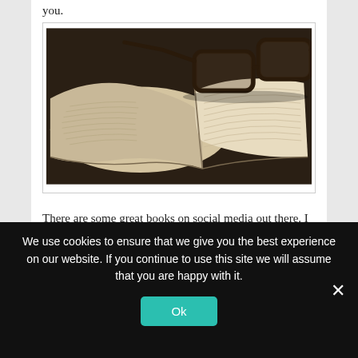you.
[Figure (photo): Open book with reading glasses resting on top, warm sepia tones]
There are some great books on social media out there. I happen to like Kristen Lamb's We Are Not Alone:The Writer's Guide to Social Media. I might not agree with
We use cookies to ensure that we give you the best experience on our website. If you continue to use this site we will assume that you are happy with it.